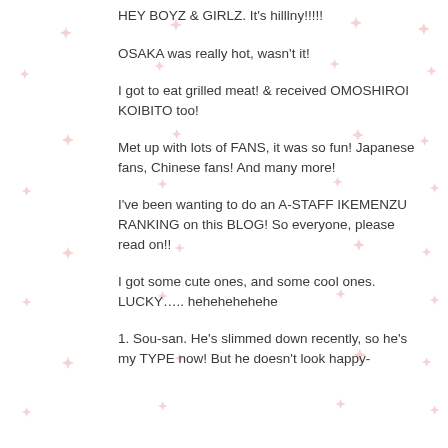HEY BOYZ & GIRLZ. It's hilllny!!!!!
OSAKA was really hot, wasn't it!
I got to eat grilled meat! & received OMOSHIROI KOIBITO too!
Met up with lots of FANS, it was so fun! Japanese fans, Chinese fans! And many more!
I've been wanting to do an A-STAFF IKEMENZU RANKING on this BLOG! So everyone, please read on!!
I got some cute ones, and some cool ones. LUCKY….. hehehehehehe
1. Sou-san. He's slimmed down recently, so he's my TYPE now! But he doesn't look happy-